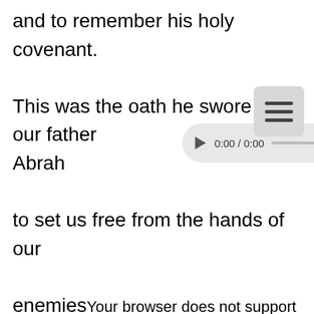and to remember his holy covenant.

This was the oath he swore to our father Abrah[am]

to set us free from the hands of our

enemies,
Free to worship him without fear,*
holy and righteous in his sight
all the days of our life.

You, my child, shall be called the prophet
of the Most High,*
for you will go before the Lord to prepare
[Figure (screenshot): An HTML audio player UI element showing 0:00 / 0:00 with a play button, progress bar, volume icon, and overflow menu dots. Overlaid by a menu/hamburger icon button.]